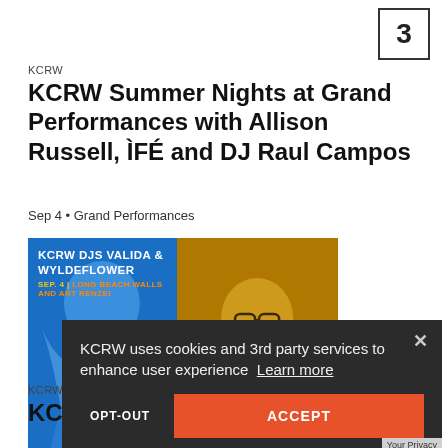3
KCRW
KCRW Summer Nights at Grand Performances with Allison Russell, ÌFÉ and DJ Raul Campos
Sep 4 • Grand Performances
[Figure (photo): Promotional image for KCRW DJs Valida & Wyldeflower event on Sep. 4 at Long Beach Walls and Art Renzei. Split image: left half shows a woman with blonde hair laughing with headphones in blue tint, right half shows a woman with glasses in golden/yellow tint. Text overlay reads: KCRW DJS VALIDA & WYLDEFLOWER / SEP. 4 | LONG BEACH WALLS AND ART RENZEI]
KCRW
KCR... Art Renzei with KCRW DJs Valida &
KCRW uses cookies and 3rd party services to enhance user experience  Learn more
OPT-OUT
ACCEPT